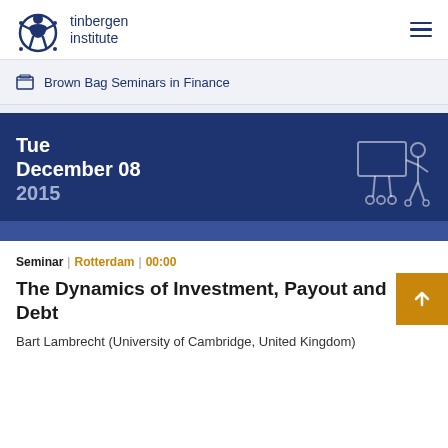tinbergen institute
Brown Bag Seminars in Finance
Tue December 08 2015
Seminar | Rotterdam | 00:00
The Dynamics of Investment, Payout and Debt
Bart Lambrecht (University of Cambridge, United Kingdom)